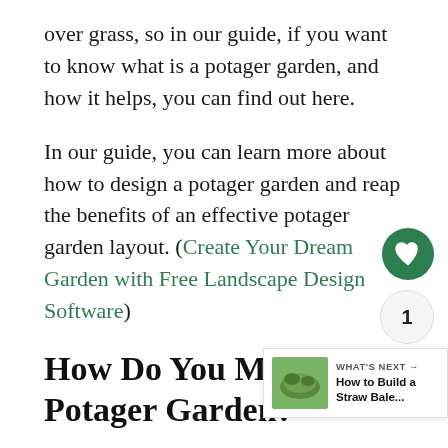over grass, so in our guide, if you want to know what is a potager garden, and how it helps, you can find out here.
In our guide, you can learn more about how to design a potager garden and reap the benefits of an effective potager garden layout. (Create Your Dream Garden with Free Landscape Design Software)
How Do You Make a Potager Garden?
You may be full of potager garden ideas, yet before you get your hands dirty, it's vital you ge potager layout design sorted for your potager
[Figure (other): What's Next widget with thumbnail photo of straw bale garden, label 'WHAT'S NEXT →', title 'How to Build a Straw Bale...']